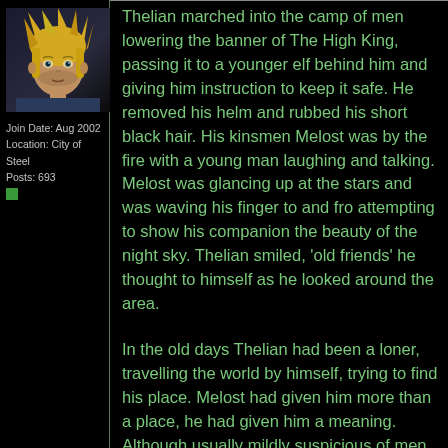[Figure (illustration): Avatar image of a blonde anime/fantasy character with spiky hair and serious expression, rendered in dark tones]
Join Date: Aug 2002
Location: City of Steel
Posts: 693
Thelian marched into the camp of men lowering the banner of The High King, passing it to a younger elf behind him and giving him instruction to keep it safe. He removed his helm and rubbed his short black hair. His kinsmen Melost was by the fire with a young man laughing and talking. Melost was glancing up at the stars and was waving his finger to and fro attempting to show his companion the beauty of the night sky. Thelian smiled, 'old friends' he thought to himself as he looked around the area.
In the old days Thelian had been a loner, travelling the world by himself, trying to find his place. Melost had given him more than a place, he had given him a meaning. Although usually mildly suspicious of men Thelian was at ease, these were men